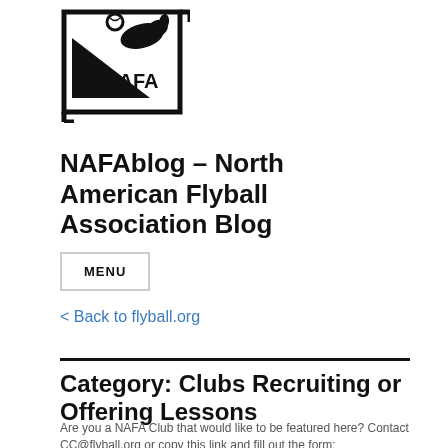[Figure (logo): NAFA logo - North American Flyball Association logo with a dog and ball above a black triangle, enclosed in a square border with 'NAFA' text]
NAFAblog – North American Flyball Association Blog
MENU
< Back to flyball.org
Category: Clubs Recruiting or Offering Lessons
Are you a NAFA Club that would like to be featured here? Contact CC@flyball.org or copy this link and fill out the form: https://forms.gle/b1YVLrE7jDLiEB4WA